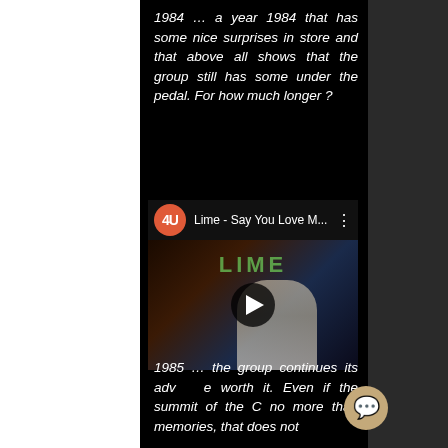1984 … a year 1984 that has some nice surprises in store and that above all shows that the group still has some under the pedal. For how much longer ?
[Figure (screenshot): YouTube video embed showing 'Lime - Say You Love M...' with a thumbnail of a sailor girl and the LIME album cover text, with a red circular channel avatar icon and three-dot menu]
1985 … the group continues its adv e worth it. Even if the summit of the C no more than memories, that does not